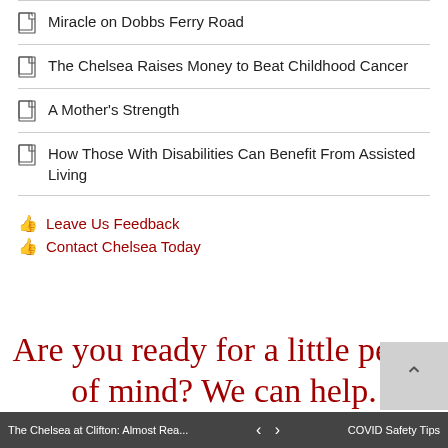Miracle on Dobbs Ferry Road
The Chelsea Raises Money to Beat Childhood Cancer
A Mother's Strength
How Those With Disabilities Can Benefit From Assisted Living
Leave Us Feedback
Contact Chelsea Today
Are you ready for a little peace of mind? We can help.
The Chelsea at Clifton: Almost Rea... < > COVID Safety Tips